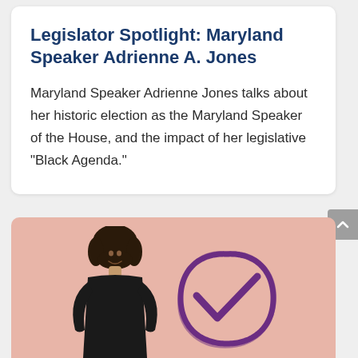Legislator Spotlight: Maryland Speaker Adrienne A. Jones
Maryland Speaker Adrienne Jones talks about her historic election as the Maryland Speaker of the House, and the impact of her legislative “Black Agenda.”
[Figure (photo): A person with curly hair wearing a black top, standing in front of a salmon/peach background with a large purple hand-drawn checkmark circle graphic.]